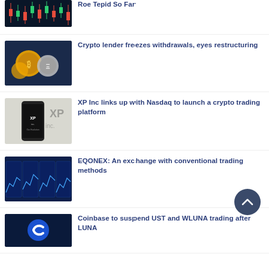[Figure (photo): Stock market candlestick chart with red and green candles on dark background]
Crypto trading: Roe Tepid So Far
[Figure (photo): Gold Bitcoin and Ethereum coins on a digital trading screen]
Crypto lender freezes withdrawals, eyes restructuring
[Figure (photo): XP Inc. smartphone and logo on light background]
XP Inc links up with Nasdaq to launch a crypto trading platform
[Figure (photo): EQONEX trading screens with blue financial charts]
EQONEX: An exchange with conventional trading methods
[Figure (photo): Coinbase logo on blue background]
Coinbase to suspend UST and WLUNA trading after LUNA